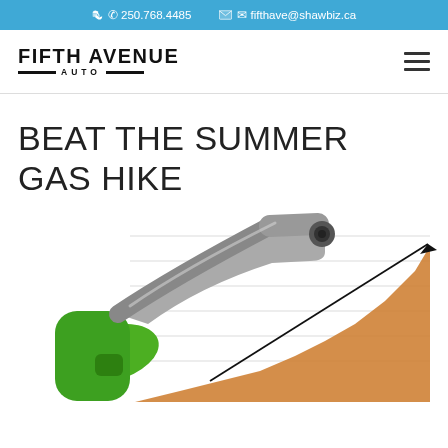250.768.4485  fifthave@shawbiz.ca
[Figure (logo): Fifth Avenue Auto logo — bold uppercase text 'FIFTH AVENUE' with 'AUTO' below between two horizontal lines]
BEAT THE SUMMER GAS HIKE
[Figure (illustration): Green gas pump nozzle overlaid on an area chart showing rising gas prices, with an upward-pointing arrow over an orange shaded region against a white background with horizontal gridlines]